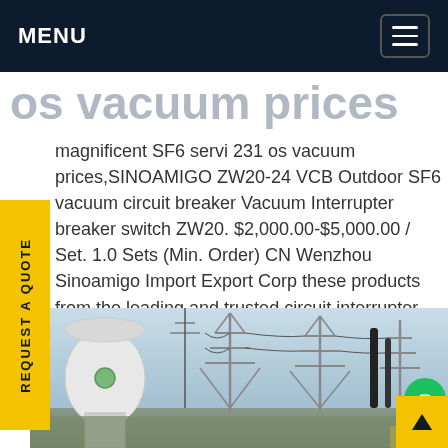MENU
os vacuum prices
magnificent SF6 servi 231 os vacuum prices,SINOAMIGO ZW20-24 VCB Outdoor SF6 vacuum circuit breaker Vacuum Interrupter breaker switch ZW20. $2,000.00-$5,000.00 / Set. 1.0 Sets (Min. Order) CN Wenzhou Sinoamigo Import Export Corp these products from the leading and trusted circuit interrupter switch suppliers and wholesalers the site for magnificent prices.Get price
[Figure (photo): Electrical substation with power transmission equipment, insulators, poles, and high-voltage lines against a sky background with construction equipment visible.]